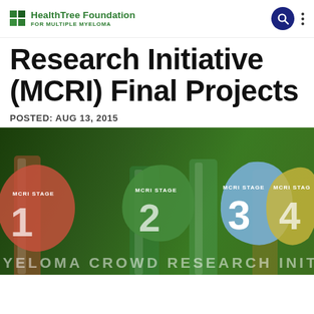HealthTree Foundation FOR MULTIPLE MYELOMA
Research Initiative (MCRI) Final Projects
POSTED: AUG 13, 2015
[Figure (illustration): Infographic showing MCRI Stage 1, 2, 3, 4 badges (colored blobs) overlaid on a dark background with laboratory test tubes. Stage 3 (blue blob) is highlighted. Bottom text reads YELOMA CROWD RESEARCH INITIATI (partially visible).]